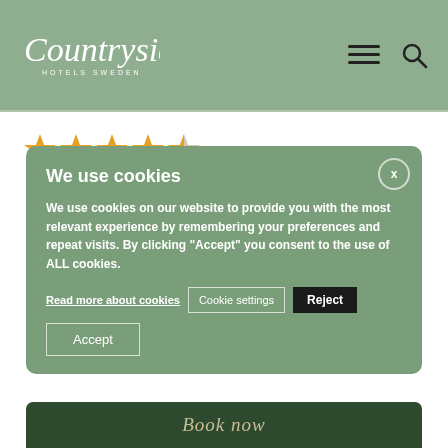[Figure (logo): Countryside Hotels Sweden logo in white italic script with subtitle text]
[Figure (illustration): 4.5 star rating shown as orange star icons]
We use cookies
We use cookies on our website to provide you with the most relevant experience by remembering your preferences and repeat visits. By clicking "Accept" you consent to the use of ALL cookies.
Read more about cookies
Cookie settings
Reject
Accept
Book now